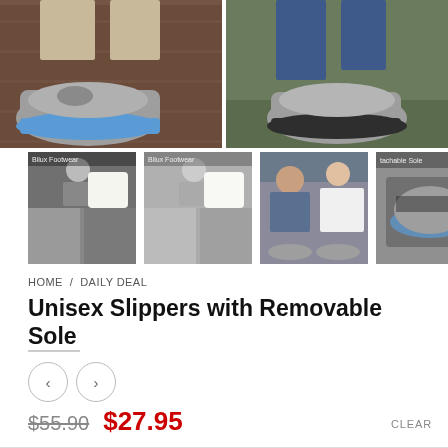[Figure (photo): Two large product photos side by side: left shows feet wearing gray slippers with blue sole on wood floor; right shows feet wearing gray slippers with dark sole on grass/carpet]
[Figure (photo): Thumbnail 1: collage of product images showing person holding slippers and feet wearing them]
[Figure (photo): Thumbnail 2: similar collage in lighter/faded tone]
[Figure (photo): Thumbnail 3: couple sitting on couch, feet wearing slippers]
[Figure (photo): Thumbnail 4: close-up of detachable sole with text 'tachable Sole']
HOME / DAILY DEAL
Unisex Slippers with Removable Sole
$55.90  $27.95
CLEAR